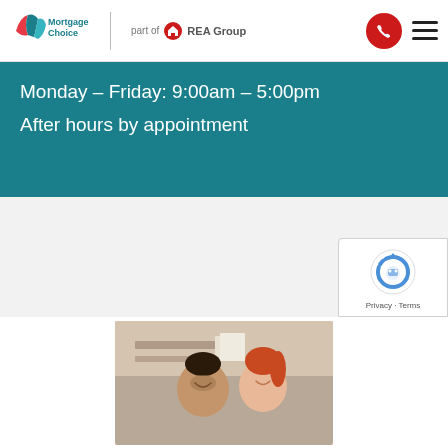[Figure (logo): Mortgage Choice logo with book/pages icon, red and teal colors, text 'Mortgage Choice' and 'part of REA Group' with house icon]
Monday - Friday: 9:00am - 5:00pm
After hours by appointment
[Figure (other): reCAPTCHA widget showing robot icon and Privacy - Terms text]
[Figure (photo): Photo of a smiling man and woman looking at something together, in a home setting with shelves in background]